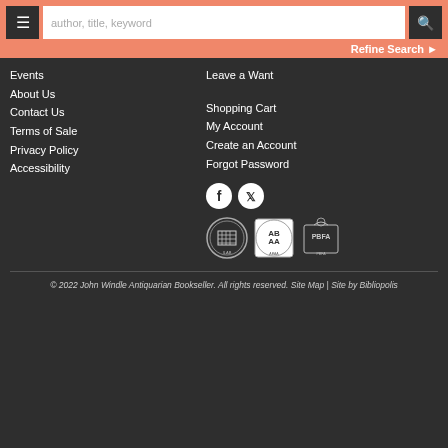author, title, keyword | Refine Search
Leave a Want
Events
About Us
Contact Us
Terms of Sale
Privacy Policy
Accessibility
Shopping Cart
My Account
Create an Account
Forgot Password
[Figure (logo): Social media icons: Facebook and Twitter circles]
[Figure (logo): Three association badge logos: ILAB, ABAA, PBFA]
© 2022 John Windle Antiquarian Bookseller. All rights reserved. Site Map | Site by Bibliopolis